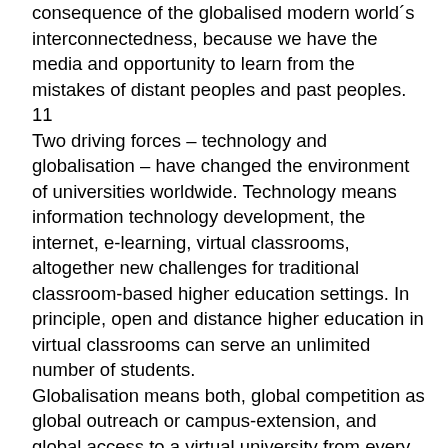consequence of the globalised modern world´s interconnectedness, because we have the media and opportunity to learn from the mistakes of distant peoples and past peoples. 11
Two driving forces – technology and globalisation – have changed the environment of universities worldwide. Technology means information technology development, the internet, e-learning, virtual classrooms, altogether new challenges for traditional classroom-based higher education settings. In principle, open and distance higher education in virtual classrooms can serve an unlimited number of students.
Globalisation means both, global competition as global outreach or campus-extension, and global access to a virtual university from every corner of the world with an internet-connection.
Transnational higher education has developed from correspondence learning, via Radio- and TVcourses, towards a new age of virtual and e-learning environments.